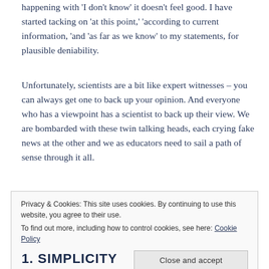happening with 'I don't know' it doesn't feel good. I have started tacking on 'at this point,' 'according to current information, 'and 'as far as we know' to my statements, for plausible deniability.
Unfortunately, scientists are a bit like expert witnesses – you can always get one to back up your opinion. And everyone who has a viewpoint has a scientist to back up their view. We are bombarded with these twin talking heads, each crying fake news at the other and we as educators need to sail a path of sense through it all.
Privacy & Cookies: This site uses cookies. By continuing to use this website, you agree to their use.
To find out more, including how to control cookies, see here: Cookie Policy
Close and accept
1. SIMPLICITY